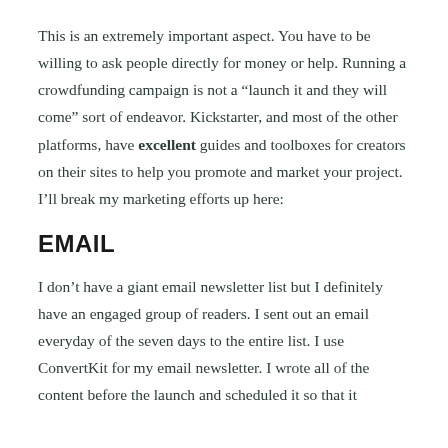This is an extremely important aspect. You have to be willing to ask people directly for money or help. Running a crowdfunding campaign is not a “launch it and they will come” sort of endeavor. Kickstarter, and most of the other platforms, have excellent guides and toolboxes for creators on their sites to help you promote and market your project. I’ll break my marketing efforts up here:
EMAIL
I don’t have a giant email newsletter list but I definitely have an engaged group of readers. I sent out an email everyday of the seven days to the entire list. I use ConvertKit for my email newsletter. I wrote all of the content before the launch and scheduled it so that it